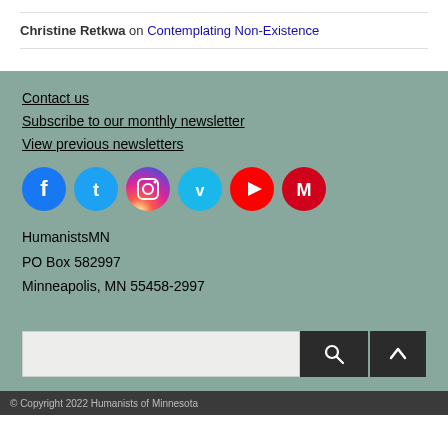Christine Retkwa on Contemplating Non-Existence
Contact us
Subscribe to our monthly newsletter
View previous newsletters
[Figure (illustration): Social media icons: Facebook, Twitter, Instagram, Vimeo, YouTube, Medium]
HumanistsMN
PO Box 582997
Minneapolis, MN 55458-2997
© Copyright 2022 Humanists of Minnesota